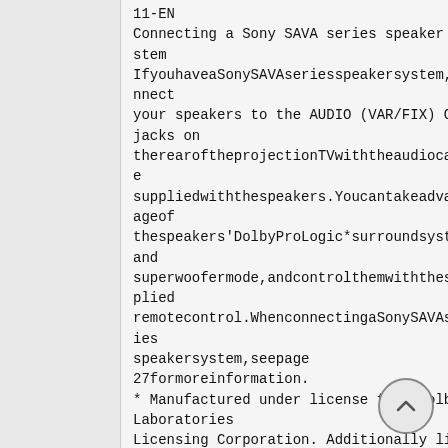11-EN
Connecting a Sony SAVA series speaker system
IfyouhaveaSonySAVAseriesspeakersystem,connect
your speakers to the AUDIO (VAR/FIX) OUT jacks on therearoftheprojectionTVwiththeaudiocable suppliedwiththespeakers.YoucantakeadvantageofthespeakersDolbyProLogic*surroundsystem and superwoofermode,andcontrolthemwiththesupplied remotecontrol.WhenconnectingaSonySAVAseries speakersystem,seepage 27formoreinformation.
* Manufactured under license from Dolby Laboratories Licensing Corporation. Additionally licensed under Canadian patent number 1,037,877. “Dolby,” the double D symbol...